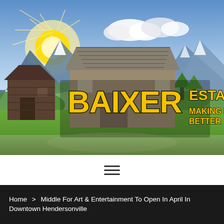[Figure (photo): Hero banner image showing a rustic wooden barn set against a dramatic mountain landscape with blue sky and sunlight. Overlaid with the BAIXER ESTATE logo text in bold yellow/black distressed lettering with tagline 'MAKING LIVING BETTER'.]
[Figure (other): Hamburger menu icon with three horizontal lines centered on a white bar]
Home > Middle For Art & Entertainment To Open In April In Downtown Hendersonville